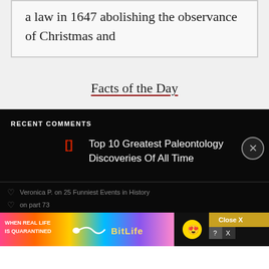a law in 1647 abolishing the observance of Christmas and
Facts of the Day
RECENT COMMENTS
Top 10 Greatest Paleontology Discoveries Of All Time
Veronica P. on 25 Funniest Events in History
[Figure (screenshot): BitLife advertisement banner with rainbow background reading 'WHEN REAL LIFE IS QUARANTINED' with BitLife logo and emoji characters]
on part 73